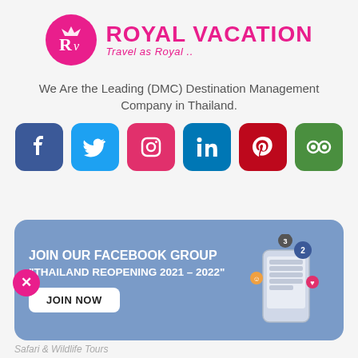[Figure (logo): Royal Vacation logo: pink circle with RV monogram, brand name 'ROYAL VACATION' in pink, tagline 'Travel as Royal ..' in pink italic]
We Are the Leading (DMC) Destination Management Company in Thailand.
[Figure (infographic): Row of 6 social media icons: Facebook (dark blue), Twitter (light blue), Instagram (red), LinkedIn (blue), Pinterest (dark red), TripAdvisor (green)]
[Figure (infographic): Facebook group banner with blue background. Title: JOIN OUR FACEBOOK GROUP. Subtitle: "THAILAND REOPENING 2021 – 2022". JOIN NOW button. Smartphone illustration on right. Pink X close button top right.]
Safari & Wildlife Tours